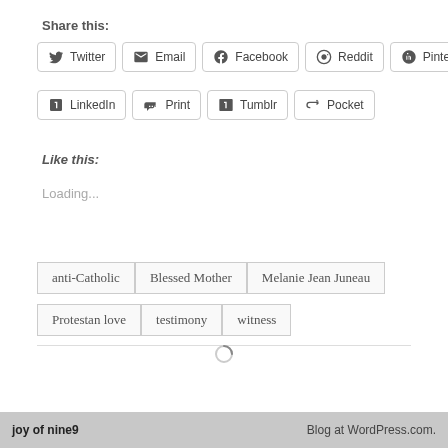Share this:
Twitter  Email  Facebook  Reddit  Pinterest  LinkedIn  Print  Tumblr  Pocket
Like this:
Loading...
anti-Catholic
Blessed Mother
Melanie Jean Juneau
Protestan love
testimony
witness
joy of nine9    Blog at WordPress.com.